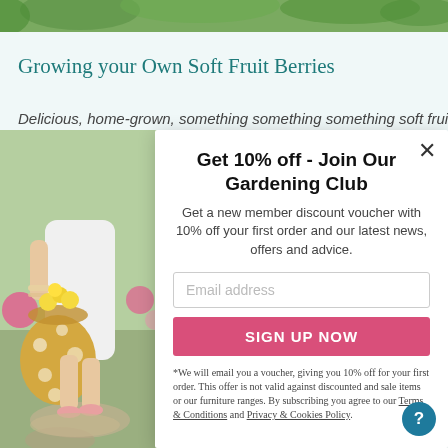[Figure (photo): Green foliage/garden top banner strip]
Growing your Own Soft Fruit Berries
Delicious, home-grown, something something soft fruit...
[Figure (photo): Woman in white dress holding basket of yellow flowers in garden]
Get 10% off - Join Our Gardening Club
Get a new member discount voucher with 10% off your first order and our latest news, offers and advice.
Email address
SIGN UP NOW
*We will email you a voucher, giving you 10% off for your first order. This offer is not valid against discounted and sale items or our furniture ranges. By subscribing you agree to our Terms & Conditions and Privacy & Cookies Policy.